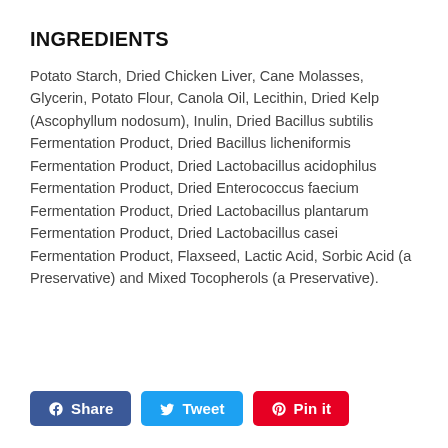INGREDIENTS
Potato Starch, Dried Chicken Liver, Cane Molasses, Glycerin, Potato Flour, Canola Oil, Lecithin, Dried Kelp (Ascophyllum nodosum), Inulin, Dried Bacillus subtilis Fermentation Product, Dried Bacillus licheniformis Fermentation Product, Dried Lactobacillus acidophilus Fermentation Product, Dried Enterococcus faecium Fermentation Product, Dried Lactobacillus plantarum Fermentation Product, Dried Lactobacillus casei Fermentation Product, Flaxseed, Lactic Acid, Sorbic Acid (a Preservative) and Mixed Tocopherols (a Preservative).
[Figure (other): Social sharing buttons: Facebook Share, Twitter Tweet, Pinterest Pin it]